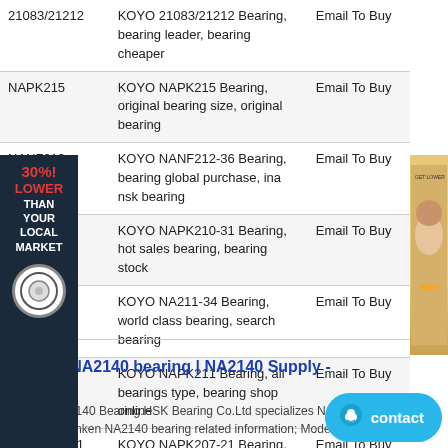| Model | Description | Action |
| --- | --- | --- |
| 21083/21212 | KOYO 21083/21212 Bearing, bearing leader, bearing cheaper | Email To Buy |
| NAPK215 | KOYO NAPK215 Bearing, original bearing size, original bearing | Email To Buy |
| NANF212- | KOYO NANF212-36 Bearing, bearing global purchase, ina nsk bearing | Email To Buy |
| NAPK210-31 | KOYO NAPK210-31 Bearing, hot sales bearing, bearing stock | Email To Buy |
| NA211-34 | KOYO NA211-34 Bearing, world class bearing, search bearing | Email To Buy |
| NAPK211 | KOYO NAPK211 Bearing, all bearings type, bearing shop online | Email To Buy |
| NAPK207-21 | KOYO NAPK207-21 Bearing, bearing size specification, bearing provider | Email To Buy |
Timken NA2140 bearing | NA2140 Supply -
Timken NA2140 Bearing.HSK Bearing Co.Ltd specializes NA2140 bearings| Timken NA2140 bearing related information; Model;